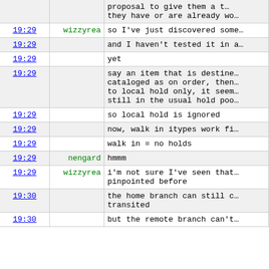| time | user | message |
| --- | --- | --- |
|  |  | proposal to give them a t… they have or are already wo… |
| 19:29 | wizzyrea | so I've just discovered some… |
| 19:29 |  | and I haven't tested it in a… |
| 19:29 |  | yet |
| 19:29 |  | say an item that is destined… cataloged as on order, then… to local hold only, it seem… still in the usual hold poo… |
| 19:29 |  | so local hold is ignored |
| 19:29 |  | now, walk in itypes work fi… |
| 19:29 |  | walk in = no holds |
| 19:29 | nengard | hmmm |
| 19:29 | wizzyrea | i'm not sure I've seen that… pinpointed before |
| 19:30 |  | the home branch can still c… transited |
| 19:30 |  | but the remote branch can't… |